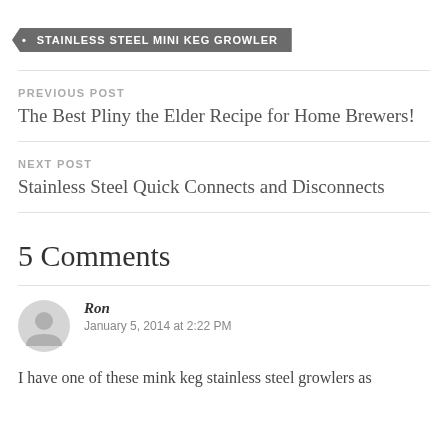• STAINLESS STEEL MINI KEG GROWLER
PREVIOUS POST
The Best Pliny the Elder Recipe for Home Brewers!
NEXT POST
Stainless Steel Quick Connects and Disconnects
5 Comments
Ron
January 5, 2014 at 2:22 PM
I have one of these mink keg stainless steel growlers as